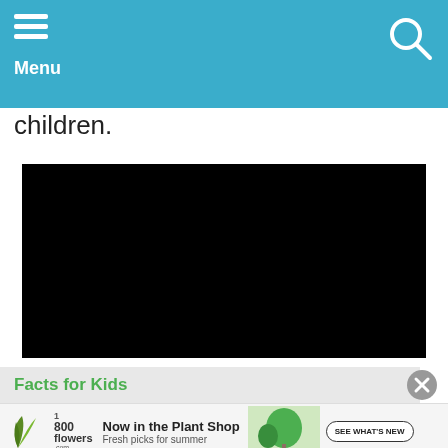Menu
children.
[Figure (other): Black video player embed area]
Facts for Kids
[Figure (other): 1-800-flowers.com advertisement: Now in the Plant Shop, Fresh picks for summer, with plant image and SEE WHAT'S NEW button]